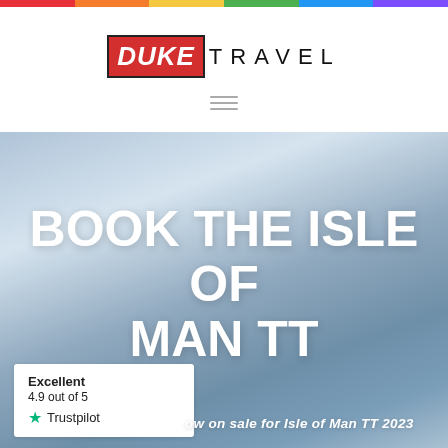[Figure (logo): Duke Travel logo with red box containing 'DUKE' in white italic text, followed by 'TRAVEL' in spaced black letters]
[Figure (illustration): Hamburger menu icon — three horizontal grey lines]
[Figure (photo): Hero background image: blurred scenic backdrop, soft blue-grey gradient tones suggesting sky or sea]
BOOK THE ISLE OF MAN TT
[Figure (logo): Trustpilot badge: 'Excellent / 4.9 out of 5 / green star / Trustpilot']
ow on sale for Isle of Man TT 2023